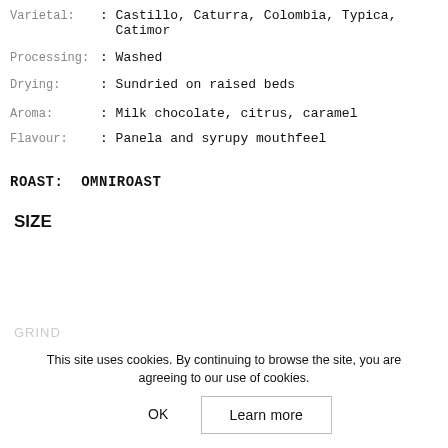Varietal: : Castillo, Caturra, Colombia, Typica, Catimor
Processing: : Washed
Drying: : Sundried on raised beds
Aroma: : Milk chocolate, citrus, caramel
Flavour: : Panela and syrupy mouthfeel
ROAST: OMNIROAST
SIZE
This site uses cookies. By continuing to browse the site, you are agreeing to our use of cookies.
OK   Learn more